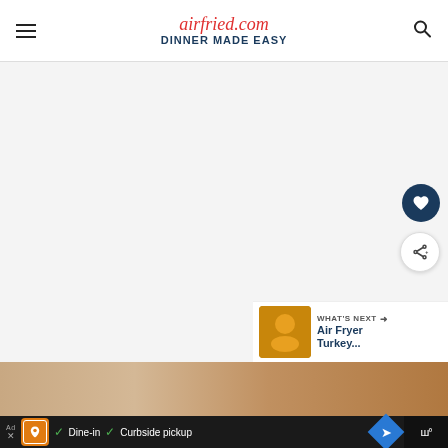airfried.com DINNER MADE EASY
[Figure (screenshot): Light gray content area with floating action buttons (heart and share) on right side, and a 'WHAT'S NEXT' card showing 'Air Fryer Turkey...']
[Figure (photo): Partial view of food photo strip at bottom of content area]
[Figure (screenshot): Dark advertisement bar with restaurant logo, 'Dine-in' and 'Curbside pickup' text with check marks, navigation diamond icon, and right panel]